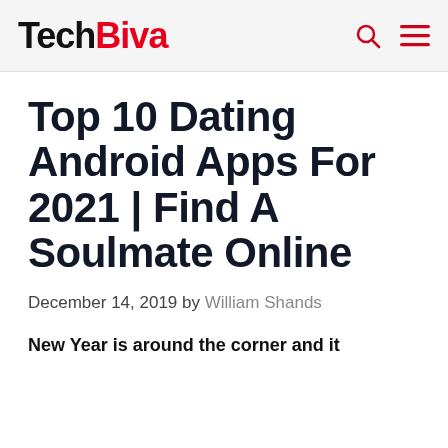TechBiva
Top 10 Dating Android Apps For 2021 | Find A Soulmate Online
December 14, 2019 by William Shands
New Year is around the corner and it